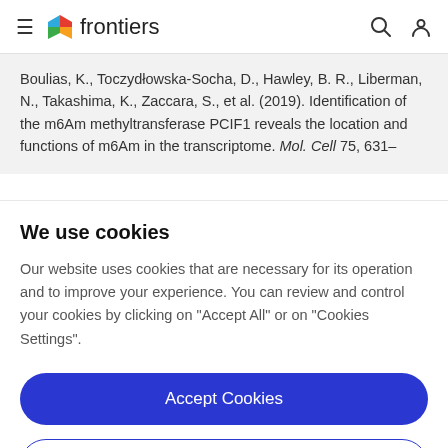frontiers
Boulias, K., Toczydłowska-Socha, D., Hawley, B. R., Liberman, N., Takashima, K., Zaccara, S., et al. (2019). Identification of the m6Am methyltransferase PCIF1 reveals the location and functions of m6Am in the transcriptome. Mol. Cell 75, 631–
We use cookies
Our website uses cookies that are necessary for its operation and to improve your experience. You can review and control your cookies by clicking on "Accept All" or on "Cookies Settings".
Accept Cookies
Cookies Settings